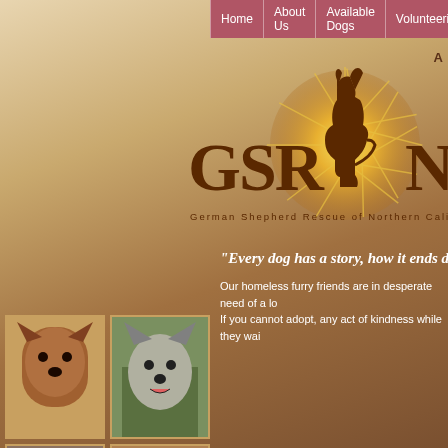Home | About Us | Available Dogs | Volunteering | Ca...
[Figure (logo): GSRNC logo with German Shepherd dog silhouette and sunburst, text reads German Shepherd Rescue of Northern Californ...]
“Every dog has a story, how it ends depen...
Our homeless furry friends are in desperate need of a lo... If you cannot adopt, any act of kindness while they wai...
[Figure (photo): Close-up photo of German Shepherd dog face, brown and black coloring, indoors]
[Figure (photo): German Shepherd dog standing outdoors on grass, grey and black coloring, mouth open]
[Figure (photo): German Shepherd / Belgian Malinois type dog, tan and black, looking at camera]
[Figure (photo): German Shepherd puppy indoors]
[Figure (photo): German Shepherd dog partial view, ears visible]
[Figure (photo): German Shepherd with person, red leash visible]